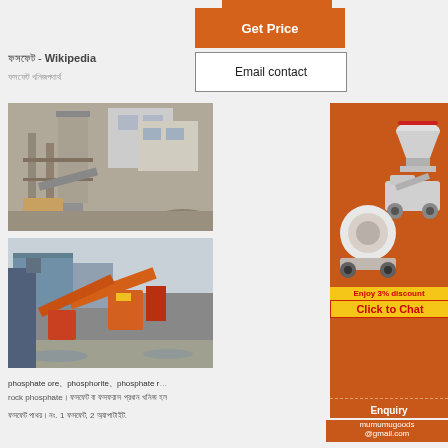ফসফেট - Wikipedia
ফসফেট খনিজপদার্থ
[Figure (photo): Industrial phosphate ore processing plant with large machinery, conveyor belts, and a building structure]
[Figure (photo): Open air industrial mineral processing site with orange conveyor belts and loading equipment]
[Figure (infographic): Orange advertisement panel showing mining/crushing machines, 'Enjoy 3% discount', 'Click to Chat', 'Enquiry', and mumumugoods@gmail.com contact details]
phosphate ore、phosphorite、phosphate rock phosphate।ফসফেট বা ফস্ফরাস প্রধান খনিজ হল
ফসফেট পাথর। নং. 1 ফসফেট, 2 অ্যাপাটাইট.